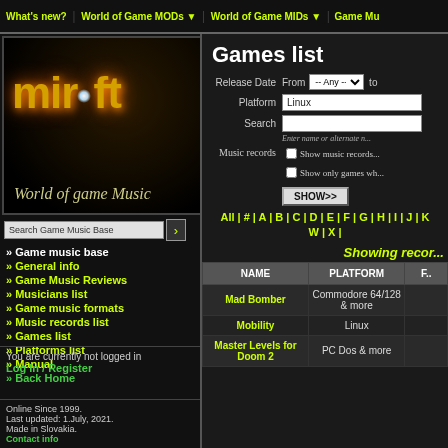What's new? | World of Game MODs | World of Game MIDs | Game Mu...
[Figure (logo): Mirsoft logo with gold stylized text and 'World of game Music' subtitle]
Search Game Music Base
» Game music base
» General info
» Game Music Reviews
» Musicians list
» Game music formats
» Music records list
» Games list
» Platforms list
» Manual
» Back Home
You are currently not logged in
Log In / Register
Online Since 1999.
Last updated: 1.July, 2021.
Made in Slovakia.
Contact info
Games list
Release Date From -- Any -- to
Platform: Linux
Search
Enter name or alternate n...
Music records: Show music records... / Show only games wh...
SHOW>>
All | # | A | B | C | D | E | F | G | H | I | J | K... W | X |...
Showing recor...
| NAME | PLATFORM | F... |
| --- | --- | --- |
| Mad Bomber | Commodore 64/128 & more |  |
| Mobility | Linux |  |
| Master Levels for Doom 2 | PC Dos & more |  |